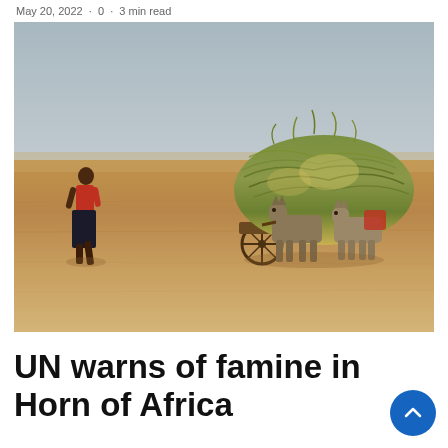May 20, 2022  · 0  · 3 min read
[Figure (photo): A person in a red shirt and dark skirt walks across a dry, barren landscape beside donkeys carrying a large load of hay/grass in what appears to be the Horn of Africa region. The sky is hazy and pale, and the ground is dry sandy-brown.]
UN warns of famine in Horn of Africa